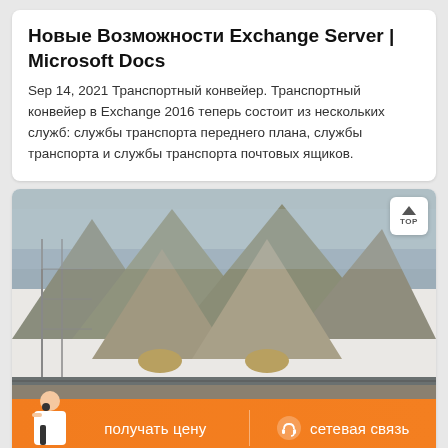Новые Возможности Exchange Server | Microsoft Docs
Sep 14, 2021 Транспортный конвейер. Транспортный конвейер в Exchange 2016 теперь состоит из нескольких служб: службы транспорта переднего плана, службы транспорта и службы транспорта почтовых ящиков.
[Figure (photo): Construction/industrial site photo showing large conical stone crushers or aggregate processing equipment with scaffolding against a light sky background]
получать цену
сетевая связь